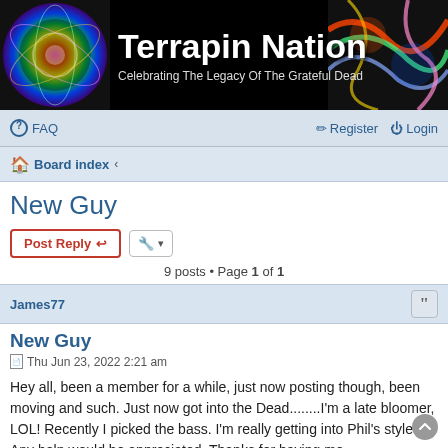[Figure (logo): Terrapin Nation forum header banner with psychedelic swirl on left, colorful abstract art on right, site title and subtitle on black background]
FAQ  Register  Login
Board index <
New Guy
Post Reply  [tools]
9 posts • Page 1 of 1
James77
New Guy
Thu Jun 23, 2022 2:21 am
Hey all, been a member for a while, just now posting though, been moving and such. Just now got into the Dead........I'm a late bloomer, LOL! Recently I picked the bass. I'm really getting into Phil's style. Any help would be appreciated. Thanks for having me.